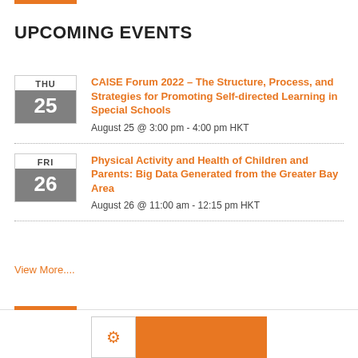UPCOMING EVENTS
CAISE Forum 2022 – The Structure, Process, and Strategies for Promoting Self-directed Learning in Special Schools | August 25 @ 3:00 pm - 4:00 pm HKT
Physical Activity and Health of Children and Parents: Big Data Generated from the Greater Bay Area | August 26 @ 11:00 am - 12:15 pm HKT
View More....